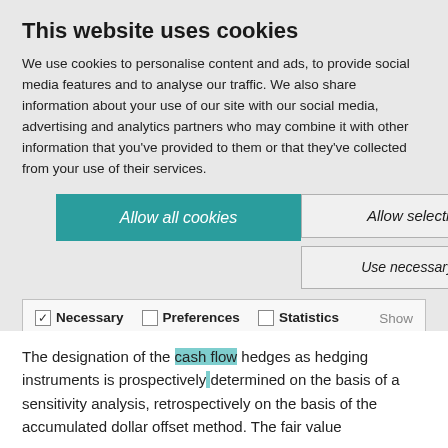This website uses cookies
We use cookies to personalise content and ads, to provide social media features and to analyse our traffic. We also share information about your use of our site with our social media, advertising and analytics partners who may combine it with other information that you've provided to them or that they've collected from your use of their services.
Allow all cookies
Allow selection
Use necessary cookies only
| ✓ Necessary | ☐ Preferences | ☐ Statistics | Show details |
| ☐ Marketing |  |  |  |
The designation of the cash flow hedges as hedging instruments is prospectively determined on the basis of a sensitivity analysis, retrospectively on the basis of the accumulated dollar offset method. The fair value changes of the hedging instruments are shown in the